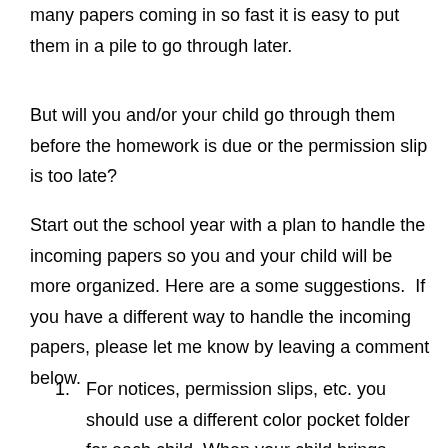many papers coming in so fast it is easy to put them in a pile to go through later.
But will you and/or your child go through them before the homework is due or the permission slip is too late?
Start out the school year with a plan to handle the incoming papers so you and your child will be more organized. Here are a some suggestions.  If you have a different way to handle the incoming papers, please let me know by leaving a comment below.
For notices, permission slips, etc. you should use a different color pocket folder for each child. When your child brings home the